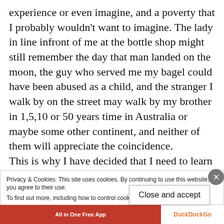experience or even imagine, and a poverty that I probably wouldn't want to imagine. The lady in line infront of me at the bottle shop might still remember the day that man landed on the moon, the guy who served me my bagel could have been abused as a child, and the stranger I walk by on the street may walk by my brother in 1,5,10 or 50 years time in Australia or maybe some other continent, and neither of them will appreciate the coincidence.
This is why I have decided that I need to learn how to take pictures of people. Suddenly I see the
Privacy & Cookies: This site uses cookies. By continuing to use this website, you agree to their use.
To find out more, including how to control cookies, see here: Cookie Policy
Close and accept
[Figure (other): Advertisement bar at bottom: red section with 'All in One Free App' text and DuckDuckGo logo on right]